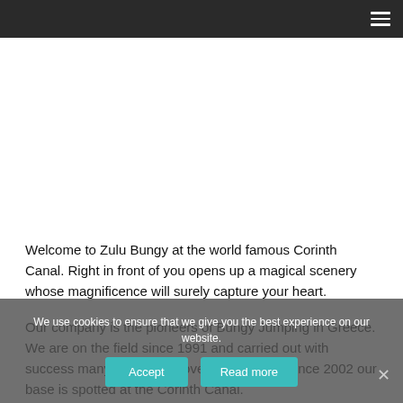≡
[Figure (photo): White/blank image area representing a photo placeholder at the top of the page]
Welcome to Zulu Bungy at the world famous Corinth Canal. Right in front of you opens up a magical scenery whose magnificence will surely capture your heart.
Our company is the pioneers of Bungy Jumping in Greece. We are on the field since 1991 and carried out with success many projects all over the country. Since 2002 our base is spotted at the Corinth Canal.
Zulu Bungy is one of the most exciting places in the world for
We use cookies to ensure that we give you the best experience on our website.